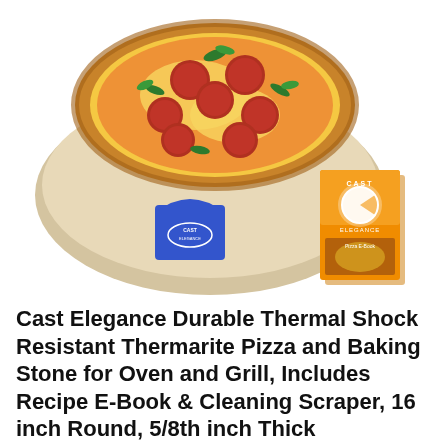[Figure (photo): Product photo showing a round cream-colored pizza/baking stone with a pepperoni and basil pizza on top, a blue plastic Cast Elegance scraper tool in front left, and an orange Cast Elegance Pizza E-Book card standing upright in front right, all on white background.]
Cast Elegance Durable Thermal Shock Resistant Thermarite Pizza and Baking Stone for Oven and Grill, Includes Recipe E-Book & Cleaning Scraper, 16 inch Round, 5/8th inch Thick